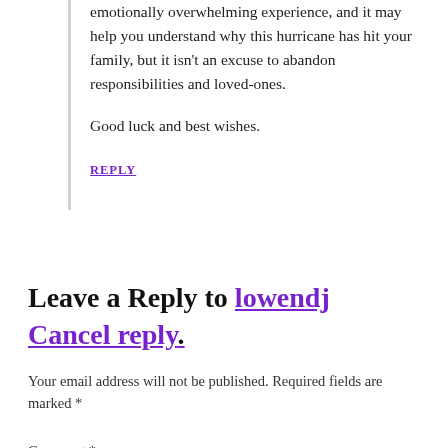emotionally overwhelming experience, and it may help you understand why this hurricane has hit your family, but it isn't an excuse to abandon responsibilities and loved-ones.
Good luck and best wishes.
REPLY
Leave a Reply to lowendj Cancel reply.
Your email address will not be published. Required fields are marked *
Comment *